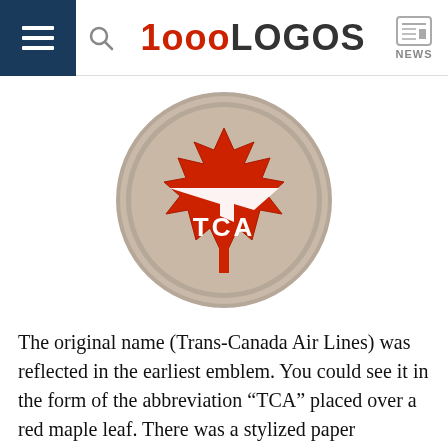1000LOGOS NEWS
[Figure (logo): TCA (Trans-Canada Air Lines) circular logo: a red maple leaf with white TCA lettering and a stylized white paper airplane silhouette, on a grey/tan circular background with a double ring border.]
The original name (Trans-Canada Air Lines) was reflected in the earliest emblem. You could see it in the form of the abbreviation “TCA” placed over a red maple leaf. There was a stylized paper